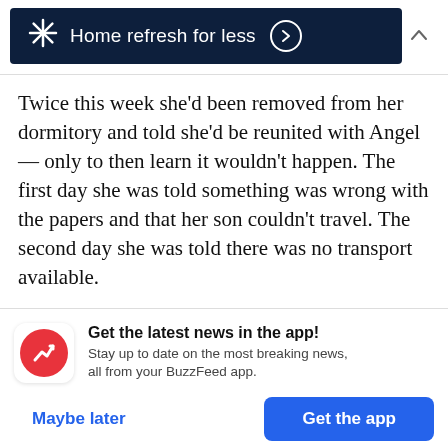[Figure (other): Walmart advertisement banner with dark navy background, Walmart spark logo, text 'Home refresh for less' with right arrow circle button, and a chevron-up icon]
Twice this week she'd been removed from her dormitory and told she'd be reunited with Angel — only to then learn it wouldn't happen. The first day she was told something was wrong with the papers and that her son couldn't travel. The second day she was told there was no transport available.
[Figure (other): BuzzFeed app promotion card: red circle logo with white trending arrow, text 'Get the latest news in the app! Stay up to date on the most breaking news, all from your BuzzFeed app.' with 'Maybe later' blue text link and 'Get the app' blue button]